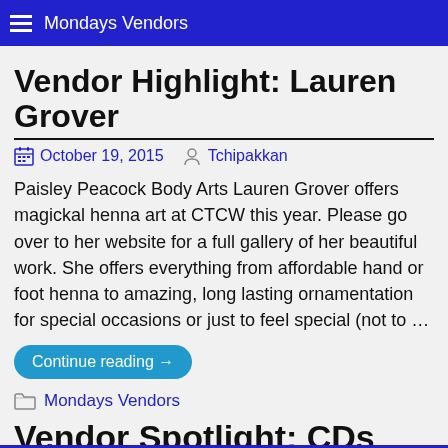Mondays Vendors
Vendor Highlight: Lauren Grover
October 19, 2015  Tchipakkan
Paisley Peacock Body Arts Lauren Grover offers magickal henna art at CTCW this year. Please go over to her website for a full gallery of her beautiful work. She offers everything from affordable hand or foot henna to amazing, long lasting ornamentation for special occasions or just to feel special (not to …
Continue reading →
Mondays Vendors
Vendor Spotlight: CDs from the Concerts